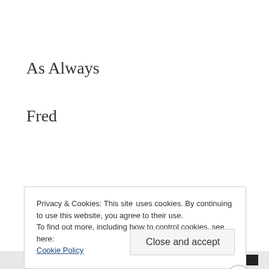As Always
Fred
Privacy & Cookies: This site uses cookies. By continuing to use this website, you agree to their use.
To find out more, including how to control cookies, see here: Cookie Policy
Close and accept